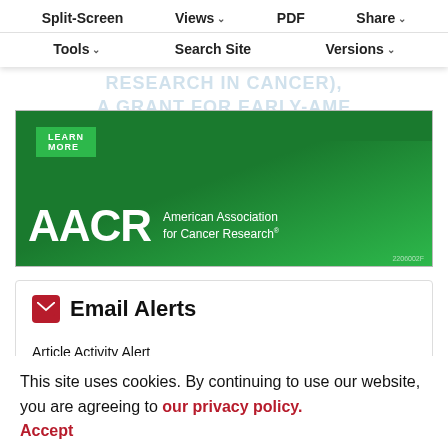Split-Screen | Views | PDF | Share | Tools | Search Site | Versions
[Figure (illustration): AACR MONARCA advertisement banner with green background, AACR logo and text 'American Association for Cancer Research' with LEARN MORE button. Small code '2206002F' in corner.]
Email Alerts
Article Activity Alert
Online First Alert
eTOC Alert
This site uses cookies. By continuing to use our website, you are agreeing to our privacy policy. Accept
Latest   Most Read   Most Cited